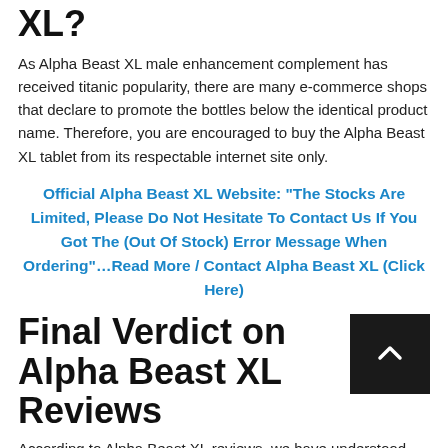Where to buy Alpha Beast XL?
As Alpha Beast XL male enhancement complement has received titanic popularity, there are many e-commerce shops that declare to promote the bottles below the identical product name. Therefore, you are encouraged to buy the Alpha Beast XL tablet from its respectable internet site only.
Official Alpha Beast XL Website: “The Stocks Are Limited, Please Do Not Hesitate To Contact Us If You Got The (Out Of Stock) Error Message When Ordering”…Read More / Contact Alpha Beast XL (Click Here)
Final Verdict on Alpha Beast XL Reviews
According to Alpha Beast XL reviews, we have understood that